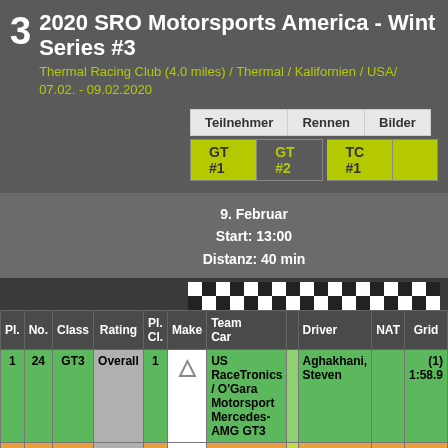2020 SRO Motorsports America - Wint... Series #3
Thermal Racing Club (4.0 miles) / Thermal / Kalifornien / USA / 07.02. - 09.02.2020
| Pl. | No. | Class | Rating | Pl. Cl. | Make | Team Car |  | Driver | NAT | Grid |
| --- | --- | --- | --- | --- | --- | --- | --- | --- | --- | --- |
| 1 | 24 | GT3 | Overall | 1 | (Mercedes logo) | US RaceTronics / O'Gara Motorsport Mercedes-AMG GT3 |  | Aghakhani, Steven |  | (1) 1:58.9 |
| 2 | 88 | UNC | Overall | 1 |  | TruSpeed Autosport Porsche |  | Masters, Garri... |  | (3) 2:0... |
9. Februar
Start: 13:00
Distanz: 40 min